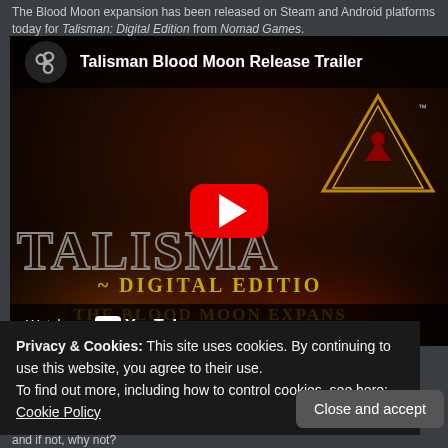The Blood Moon expansion has been released on Steam and Android platforms today for Talisman: Digital Edition from Nomad Games.
[Figure (screenshot): YouTube video embed thumbnail for 'Talisman Blood Moon Release Trailer' showing the Talisman Digital Edition Blood Moon Expansion title card with a red play button overlay, YouTube logo, and 'Watch on YouTube' bar at bottom.]
Privacy & Cookies: This site uses cookies. By continuing to use this website, you agree to their use.
To find out more, including how to control cookies, see here: Cookie Policy
and if not, why not?